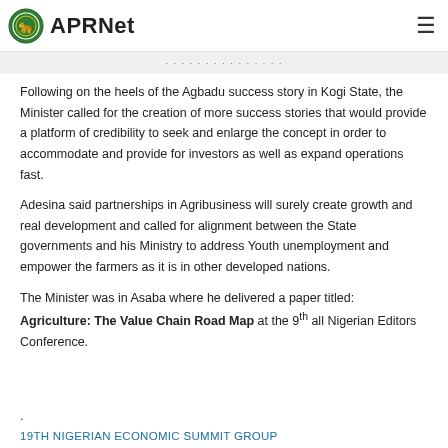APRNet
Following on the heels of the Agbadu success story in Kogi State, the Minister called for the creation of more success stories that would provide a platform of credibility to seek and enlarge the concept in order to accommodate and provide for investors as well as expand operations fast.
Adesina said partnerships in Agribusiness will surely create growth and real development and called for alignment between the State governments and his Ministry to address Youth unemployment and empower the farmers as it is in other developed nations.
The Minister was in Asaba where he delivered a paper titled: Agriculture: The Value Chain Road Map at the 9th all Nigerian Editors Conference.
.
19TH NIGERIAN ECONOMIC SUMMIT GROUP